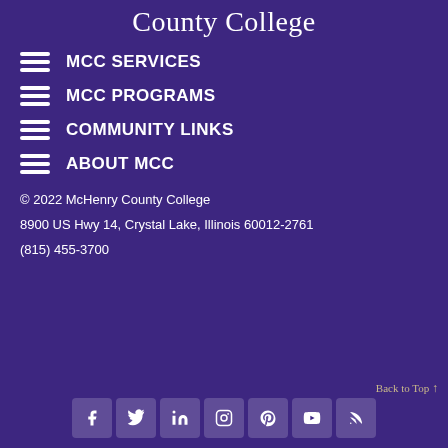County College
MCC SERVICES
MCC PROGRAMS
COMMUNITY LINKS
ABOUT MCC
© 2022 McHenry County College
8900 US Hwy 14, Crystal Lake, Illinois 60012-2761
(815) 455-3700
Back to Top ↑
[Figure (other): Social media icons: Facebook, Twitter, LinkedIn, Instagram, Pinterest, YouTube, RSS]